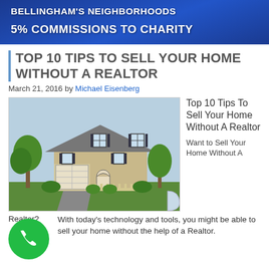BELLINGHAM'S NEIGHBORHOODS
5% COMMISSIONS TO CHARITY
TOP 10 TIPS TO SELL YOUR HOME WITHOUT A REALTOR
March 21, 2016 by Michael Eisenberg
[Figure (illustration): Illustration of a two-story suburban house with garage, trees, and landscaping on a light blue/grey background]
Top 10 Tips To Sell Your Home Without A Realtor
Want to Sell Your Home Without A Realtor?
[Figure (illustration): Green circular phone/call button icon]
With today's technology and tools, you might be able to sell your home without the help of a Realtor.